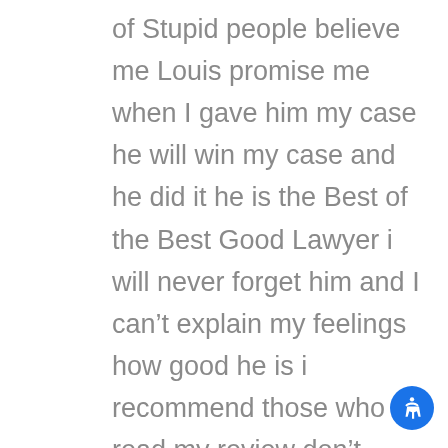of Stupid people believe me Louis promise me when I gave him my case he will win my case and he did it he is the Best of the Best Good Lawyer i will never forget him and I can't explain my feelings how good he is i recommend those who read my review don't waste time with stupid lawyer who doesn't no nothing may be they are getting their Diploma with money to show for the people in their office thank you Sir, Louis Almighty God may keep you Always happy in your life and Keep you Always in Your Position